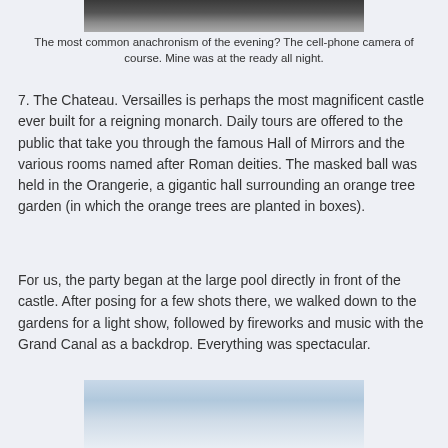[Figure (photo): Partial view of a photo at the top of the page, showing dark and grey tones]
The most common anachronism of the evening?  The cell-phone camera of course.  Mine was at the ready all night.
7.  The Chateau.  Versailles is perhaps the most magnificent castle ever built for a reigning monarch.  Daily tours are offered to the public that take you through the famous Hall of Mirrors and the various rooms named after Roman deities.  The masked ball was held in the Orangerie, a gigantic hall surrounding an orange tree garden (in which the orange trees are planted in boxes).
For us, the party began at the large pool directly in front of the castle.  After posing for a few shots there, we walked down to the gardens for a light show, followed by fireworks and music with the Grand Canal as a backdrop.  Everything was spectacular.
[Figure (photo): Partial view of a photo at the bottom of the page, showing a cloudy sky with blue and white tones]